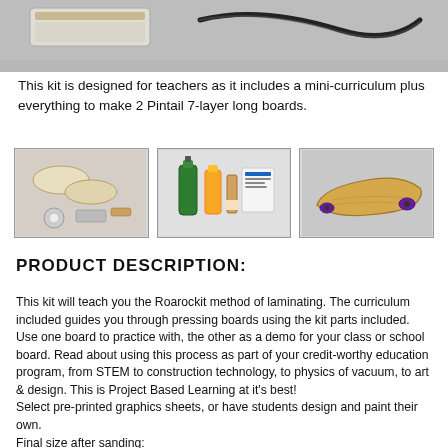[Figure (photo): Top banner photo showing longboard kit components including a vacuum press bag and boards on a light background]
This kit is designed for teachers as it includes a mini-curriculum plus everything to make 2 Pintail 7-layer long boards.
[Figure (photo): Three thumbnail photos: (1) wooden board blanks and kit parts, (2) glue bottles and laminating supplies, (3) finished longboard skateboard]
PRODUCT DESCRIPTION:
This kit will teach you the Roarockit method of laminating. The curriculum included guides you through pressing boards using the kit parts included. Use one board to practice with, the other as a demo for your class or school board. Read about using this process as part of your credit-worthy education program, from STEM to construction technology, to physics of vacuum, to art & design. This is Project Based Learning at it's best!
Select pre-printed graphics sheets, or have students design and paint their own.
Final size after sanding:
40"L x 9 1/2"W